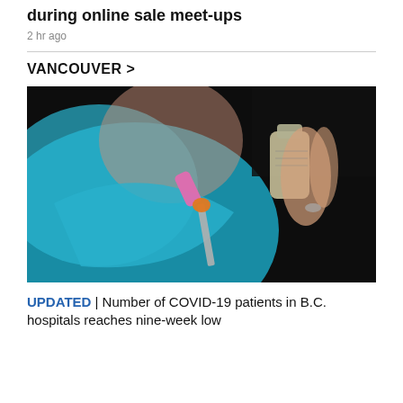during online sale meet-ups
2 hr ago
VANCOUVER >
[Figure (photo): Person wearing a blue surgical mask holds a vaccine vial and syringe with a pink needle cap and orange connector against a dark background.]
UPDATED | Number of COVID-19 patients in B.C. hospitals reaches nine-week low